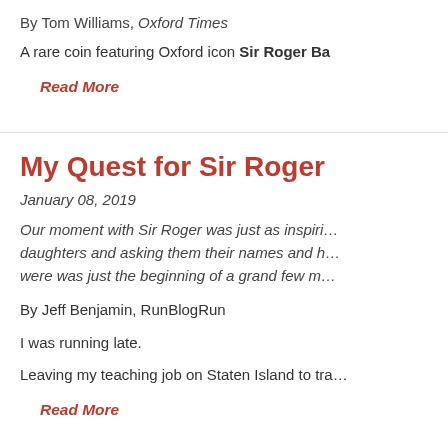By Tom Williams, Oxford Times
A rare coin featuring Oxford icon Sir Roger Ba…
Read More
My Quest for Sir Roger
January 08, 2019
Our moment with Sir Roger was just as inspiri… daughters and asking them their names and h… were was just the beginning of a grand few m…
By Jeff Benjamin, RunBlogRun
I was running late.
Leaving my teaching job on Staten Island to tra…
Read More